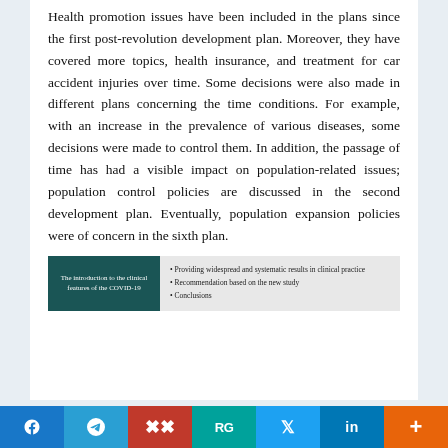Health promotion issues have been included in the plans since the first post-revolution development plan. Moreover, they have covered more topics, health insurance, and treatment for car accident injuries over time. Some decisions were also made in different plans concerning the time conditions. For example, with an increase in the prevalence of various diseases, some decisions were made to control them. In addition, the passage of time has had a visible impact on population-related issues; population control policies are discussed in the second development plan. Eventually, population expansion policies were of concern in the sixth plan.
[Figure (other): A document thumbnail on the left with dark teal background and white text, and a list of bullet points on the right on light grey background.]
f  [telegram]  [mendeley]  RG  [twitter]  in  +